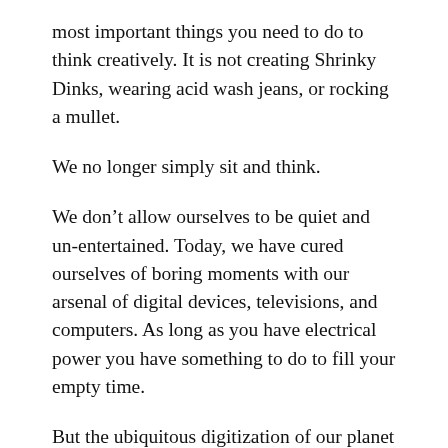most important things you need to do to think creatively. It is not creating Shrinky Dinks, wearing acid wash jeans, or rocking a mullet.
We no longer simply sit and think.
We don’t allow ourselves to be quiet and un-entertained. Today, we have cured ourselves of boring moments with our arsenal of digital devices, televisions, and computers. As long as you have electrical power you have something to do to fill your empty time.
But the ubiquitous digitization of our planet has a devastating effect on our creativity. It is like the burning of the South American rainforests. Or the melting of the polar ice caps. Except what we are losing isn’t trees or ice. It is our creative thinking and innovation.